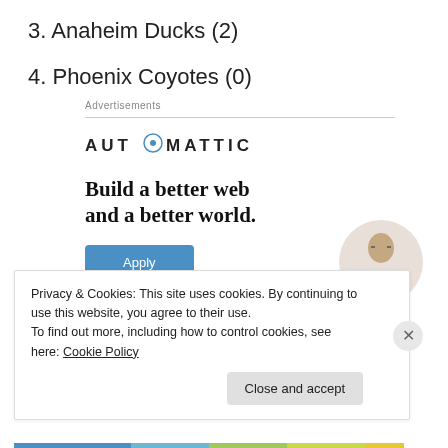3. Anaheim Ducks (2)
4. Phoenix Coyotes (0)
[Figure (infographic): Automattic advertisement banner with logo, headline 'Build a better web and a better world.', an Apply button, and a photo of a person]
Privacy & Cookies: This site uses cookies. By continuing to use this website, you agree to their use.
To find out more, including how to control cookies, see here: Cookie Policy
Close and accept